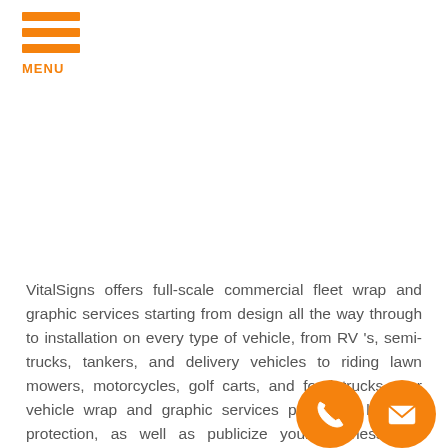MENU
VitalSigns offers full-scale commercial fleet wrap and graphic services starting from design all the way through to installation on every type of vehicle, from RV 's, semi-trucks, tankers, and delivery vehicles to riding lawn mowers, motorcycles, golf carts, and food trucks. Our vehicle wrap and graphic services provide a layer of protection, as well as publicize your business and anywhere your vehicle can be seen, whether on a job